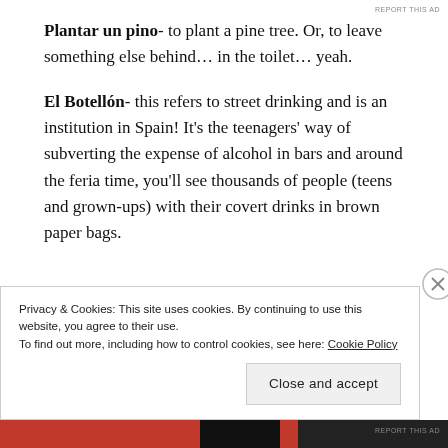Plantar un pino- to plant a pine tree. Or, to leave something else behind… in the toilet… yeah.
El Botellón- this refers to street drinking and is an institution in Spain! It's the teenagers' way of subverting the expense of alcohol in bars and around the feria time, you'll see thousands of people (teens and grown-ups) with their covert drinks in brown paper bags.
Privacy & Cookies: This site uses cookies. By continuing to use this website, you agree to their use. To find out more, including how to control cookies, see here: Cookie Policy